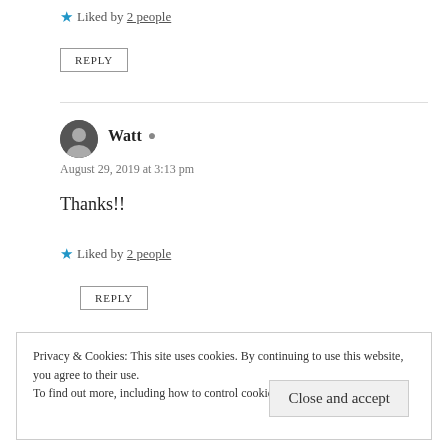★ Liked by 2 people
REPLY
Watt
August 29, 2019 at 3:13 pm
Thanks!!
★ Liked by 2 people
REPLY
Privacy & Cookies: This site uses cookies. By continuing to use this website, you agree to their use. To find out more, including how to control cookies, see here: Cookie Policy
Close and accept